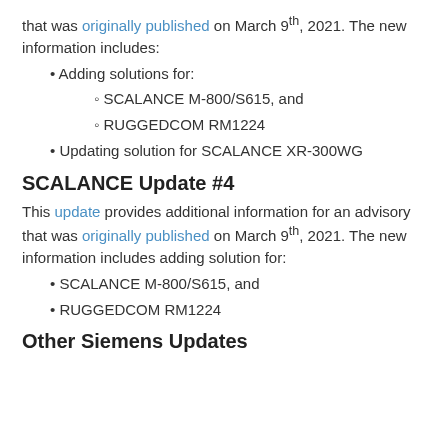that was originally published on March 9th, 2021. The new information includes:
Adding solutions for:
SCALANCE M-800/S615, and
RUGGEDCOM RM1224
Updating solution for SCALANCE XR-300WG
SCALANCE Update #4
This update provides additional information for an advisory that was originally published on March 9th, 2021. The new information includes adding solution for:
SCALANCE M-800/S615, and
RUGGEDCOM RM1224
Other Siemens Updates